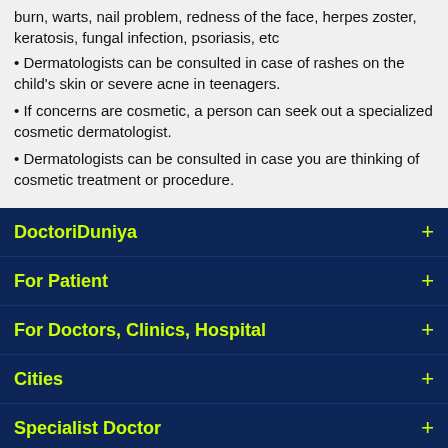burn, warts, nail problem, redness of the face, herpes zoster, keratosis, fungal infection, psoriasis, etc
Dermatologists can be consulted in case of rashes on the child's skin or severe acne in teenagers.
If concerns are cosmetic, a person can seek out a specialized cosmetic dermatologist.
Dermatologists can be consulted in case you are thinking of cosmetic treatment or procedure.
DoctoriDuniya
For Patient
For Doctors, Clinics, Hospital
Cities
Specialist Doctor
Are You a Top Doctor
DoctoriDuniya